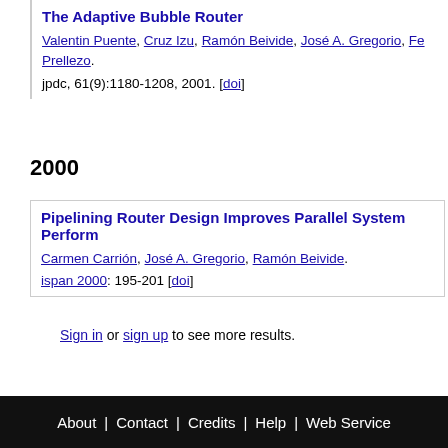The Adaptive Bubble Router
Valentin Puente, Cruz Izu, Ramón Beivide, José A. Gregorio, Fe... Prellezo.
jpdc, 61(9):1180-1208, 2001. [doi]
2000
Pipelining Router Design Improves Parallel System Perform...
Carmen Carrión, José A. Gregorio, Ramón Beivide.
ispan 2000: 195-201 [doi]
Sign in or sign up to see more results.
About | Contact | Credits | Help | Web Service